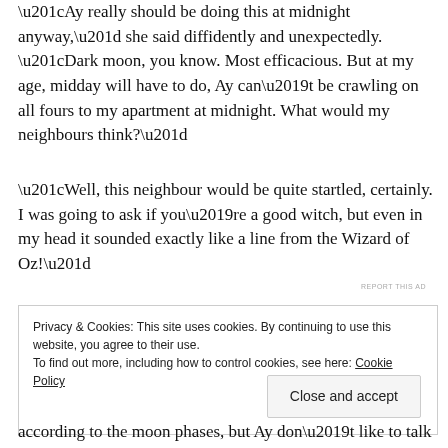“Ay really should be doing this at midnight anyway,” she said diffidently and unexpectedly. “Dark moon, you know. Most efficacious. But at my age, midday will have to do, Ay can’t be crawling on all fours to my apartment at midnight. What would my neighbours think?”
“Well, this neighbour would be quite startled, certainly. I was going to ask if you’re a good witch, but even in my head it sounded exactly like a line from the Wizard of Oz!”
REPORT THIS AD
Privacy & Cookies: This site uses cookies. By continuing to use this website, you agree to their use.
To find out more, including how to control cookies, see here: Cookie Policy
Close and accept
according to the moon phases, but Ay don’t like to talk